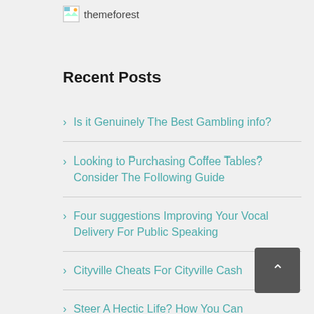[Figure (logo): Broken image icon with text 'themeforest' beside it]
Recent Posts
Is it Genuinely The Best Gambling info?
Looking to Purchasing Coffee Tables? Consider The Following Guide
Four suggestions Improving Your Vocal Delivery For Public Speaking
Cityville Cheats For Cityville Cash
Steer A Hectic Life? How You Can Nonetheless